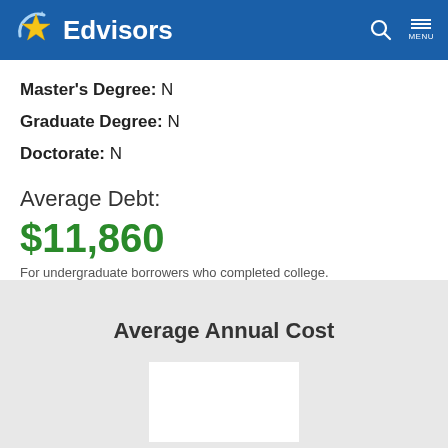Edvisors
Master's Degree:  N
Graduate Degree:  N
Doctorate:  N
Average Debt:
$11,860
For undergraduate borrowers who completed college.
Average Annual Cost